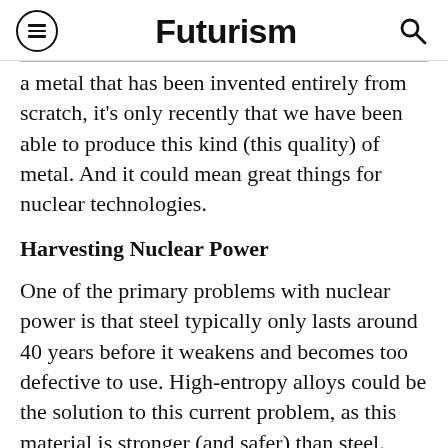Futurism
a metal that has been invented entirely from scratch, it's only recently that we have been able to produce this kind (this quality) of metal. And it could mean great things for nuclear technologies.
Harvesting Nuclear Power
One of the primary problems with nuclear power is that steel typically only lasts around 40 years before it weakens and becomes too defective to use. High-entropy alloys could be the solution to this current problem, as this material is stronger (and safer) than steel.